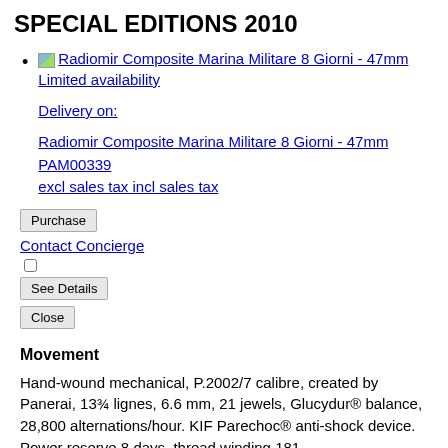SPECIAL EDITIONS 2010
Radiomir Composite Marina Militare 8 Giorni - 47mm
Limited availability
Delivery on:
Radiomir Composite Marina Militare 8 Giorni - 47mm
PAM00339
excl sales tax incl sales tax
Purchase | Contact Concierge | See Details | Close
Movement
Hand-wound mechanical, P.2002/7 calibre, created by Panerai, 13¾ lignes, 6.6 mm, 21 jewels, Glucydur® balance, 28,800 alternations/hour. KIF Parechoc® anti-shock device. Power reserve 8 days, thread winding 181...